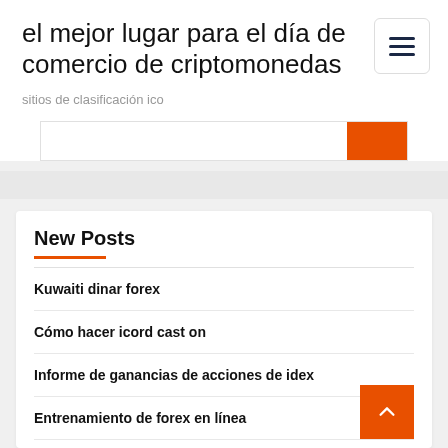el mejor lugar para el día de comercio de criptomonedas
sitios de clasificación ico
New Posts
Kuwaiti dinar forex
Cómo hacer icord cast on
Informe de ganancias de acciones de idex
Entrenamiento de forex en línea